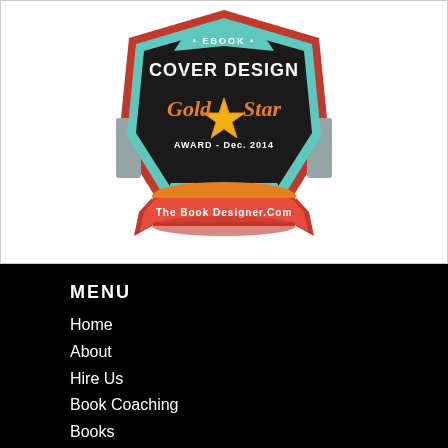[Figure (logo): eBook Cover Design Gold Star Award - Dec. 2014, TheBookDesigner.com badge. Retro badge design with dark shield shape, teal/blue border, red accents, gold star, and orange ribbon banner at bottom.]
MENU
Home
About
Hire Us
Book Coaching
Books